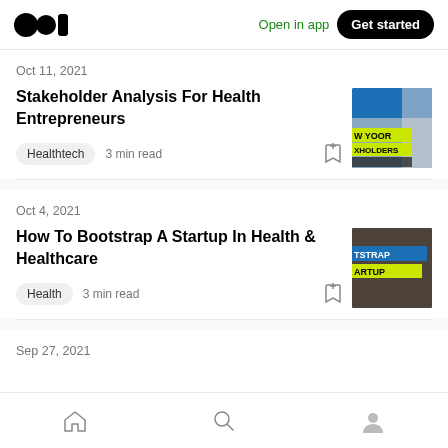Medium logo | Open in app | Get started
Oct 11, 2021
Stakeholder Analysis For Health Entrepreneurs
Healthtech  3 min read
Oct 4, 2021
How To Bootstrap A Startup In Health & Healthcare
Health  3 min read
Sep 27, 2021
Home | Search | Profile